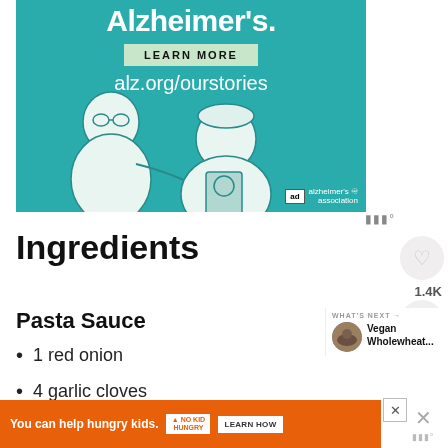[Figure (illustration): Alzheimer's Association advertisement banner with teal background. Shows text 'Alzheimer's.' in white bold font, a 'LEARN MORE' button, URL 'alz.org/ourstories', and an illustrated image of two people (an older man and a younger person). Bottom right shows 'ad' box with 'alzheimer's association' logo.]
Ingredients
Pasta Sauce
1 red onion
4 garlic cloves
[Figure (screenshot): WHAT'S NEXT panel with circular food photo and text 'Vegan Wholewheat...']
[Figure (screenshot): Bottom orange advertisement: 'You can help hungry kids.' with No Kid Hungry logo and LEARN HOW button]